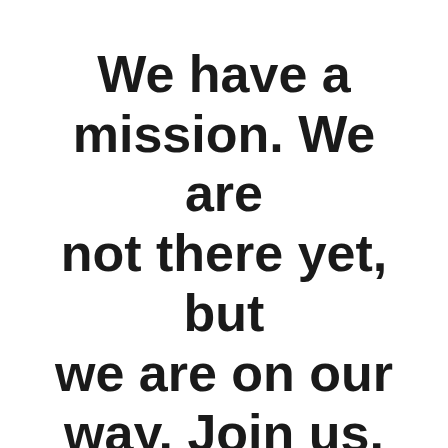We have a mission. We are not there yet, but we are on our way. Join us.